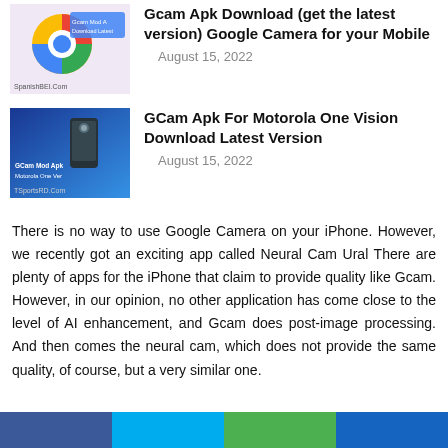[Figure (screenshot): Thumbnail image showing Google Camera / GCam Mod Apk logo with colorful circle icon on light background, with text 'SpanishBEI.Com']
Gcam Apk Download (get the latest version) Google Camera for your Mobile
August 15, 2022
[Figure (screenshot): Thumbnail image showing GCam Mod Apk for Motorola One Vision on blue background with phone image, text 'TSportsRD.Com']
GCam Apk For Motorola One Vision Download Latest Version
August 15, 2022
There is no way to use Google Camera on your iPhone. However, we recently got an exciting app called Neural Cam Ural There are plenty of apps for the iPhone that claim to provide quality like Gcam. However, in our opinion, no other application has come close to the level of AI enhancement, and Gcam does post-image processing. And then comes the neural cam, which does not provide the same quality, of course, but a very similar one.